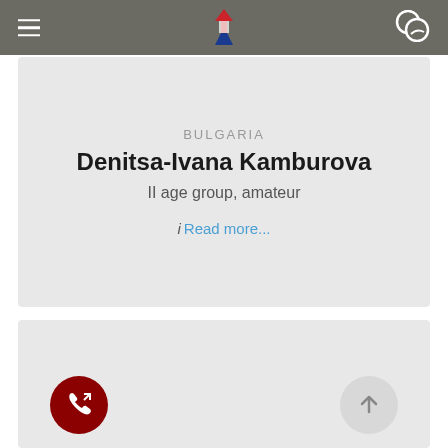Navigation header with hamburger menu, logo, and chat icon
BULGARIA
Denitsa-Ivana Kamburova
II age group, amateur
i Read more...